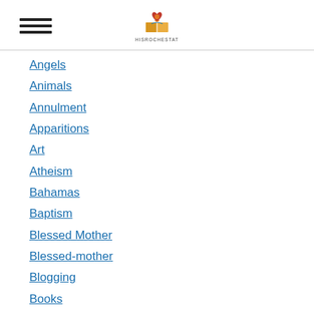[hamburger menu icon] [HisRochestAt logo]
Angels
Animals
Annulment
Apparitions
Art
Atheism
Bahamas
Baptism
Blessed Mother
Blessed-mother
Blogging
Books
Boycott
Breastfeeding
Bullying
Cafeteria Catholic
Cafeteria Catholics
Cats